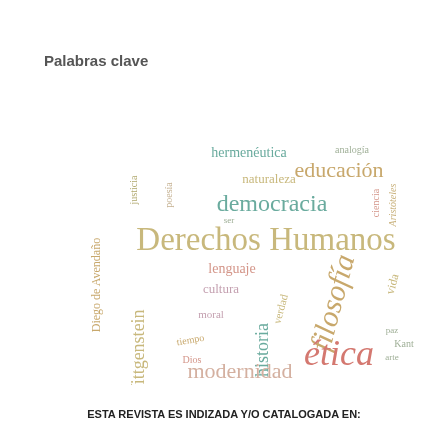Palabras clave
[Figure (infographic): Word cloud in Spanish featuring academic and philosophical terms. Largest words: Derechos Humanos, filosofía, ética. Large words: democracia, educación, modernidad, historia, Wittgenstein, Diego de Avendaño. Medium words: hermenéutica, naturaleza, lenguaje, cultura, verdad, vida, libertad, identidad, moral, tiempo, ciencia, analogía. Small words: justicia, poesía, ser, Dios, paz, arte, Kant, Estado, estética, diversidad, Aristóteles, Tomás de Aquino, filosofía colonial.]
ESTA REVISTA ES INDIZADA Y/O CATALOGADA EN: